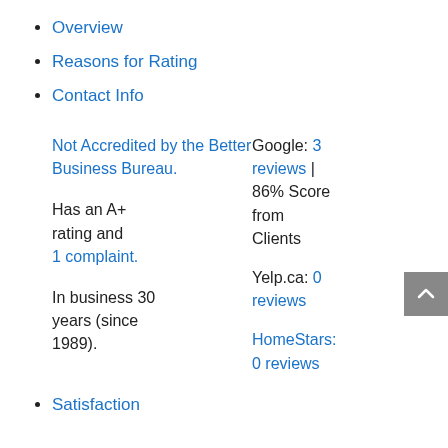Overview
Reasons for Rating
Contact Info
Not Accredited by the Better Business Bureau.
Google: 3 reviews | 86% Score from Clients
Has an A+ rating and 1 complaint.
Yelp.ca: 0 reviews
HomeStars: 0 reviews
In business 30 years (since 1989).
Satisfaction